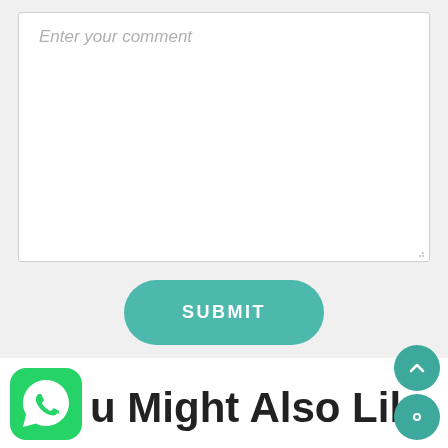[Figure (screenshot): Comment textarea input field with placeholder text 'Enter your comment' and a resize handle at bottom-right]
[Figure (screenshot): Teal rounded SUBMIT button centered on page]
[Figure (screenshot): WhatsApp icon (green rounded square with phone handset) at bottom left]
u Might Also Like
[Figure (screenshot): Two teal circular scroll/chat buttons stacked at bottom right — an up-arrow button and a chat/message button]